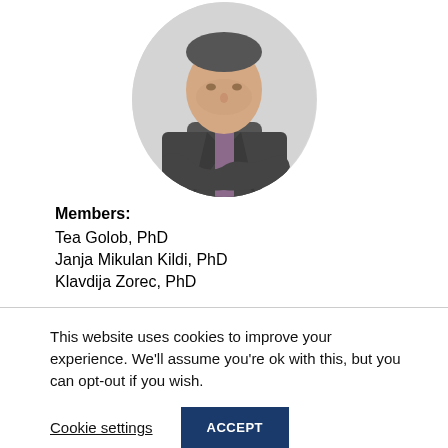[Figure (photo): Circular portrait photo of a man in a dark grey suit and purple striped shirt with arms crossed, viewed from chest up]
Members:
Tea Golob, PhD
Janja Mikulan Kildi, PhD
Klavdija Zorec, PhD
This website uses cookies to improve your experience. We'll assume you're ok with this, but you can opt-out if you wish.
Cookie settings    ACCEPT